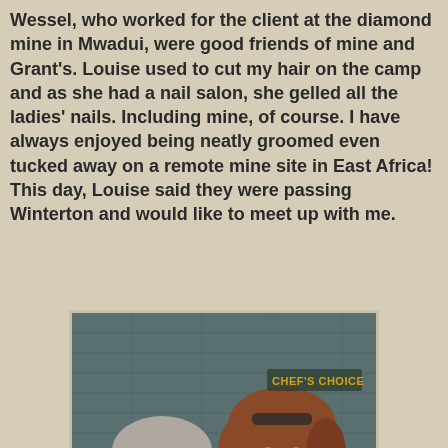Wessel, who worked for the client at the diamond mine in Mwadui, were good friends of mine and Grant's. Louise used to cut my hair on the camp and as she had a nail salon, she gelled all the ladies' nails. Including mine, of course. I have always enjoyed being neatly groomed even tucked away on a remote mine site in East Africa! This day, Louise said they were passing Winterton and would like to meet up with me.
[Figure (photo): Two women smiling together at a restaurant or café. The older woman on the left has short grey hair and wears a light pink top. The younger woman on the right has medium-length auburn hair, sunglasses on her head, and wears a denim dungaree top. A sign reading 'CHEF'S CHOICE' is visible in the background.]